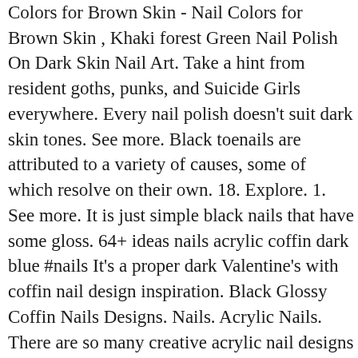Colors for Brown Skin - Nail Colors for Brown Skin , Khaki forest Green Nail Polish On Dark Skin Nail Art. Take a hint from resident goths, punks, and Suicide Girls everywhere. Every nail polish doesn't suit dark skin tones. See more. Black toenails are attributed to a variety of causes, some of which resolve on their own. 18. Explore. 1. See more. It is just simple black nails that have some gloss. 64+ ideas nails acrylic coffin dark blue #nails It's a proper dark Valentine's with coffin nail design inspiration. Black Glossy Coffin Nails Designs. Nails. Acrylic Nails. There are so many creative acrylic nail designs on the Internet to choose from. Acrylic infill done on coffin/ballerina shaped nails with wave gel and madam glam gel polish. Brown Acrylic Nails. Black matte nails will stand out no matter where you are headed, and blue glitter accent will add up to this fabulous look. Long coffin nails are always special so I think these glossy long shaped white coffin nails on